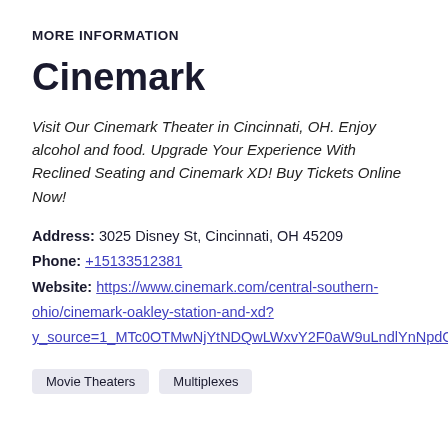MORE INFORMATION
Cinemark
Visit Our Cinemark Theater in Cincinnati, OH. Enjoy alcohol and food. Upgrade Your Experience With Reclined Seating and Cinemark XD! Buy Tickets Online Now!
Address: 3025 Disney St, Cincinnati, OH 45209
Phone: +15133512381
Website: https://www.cinemark.com/central-southern-ohio/cinemark-oakley-station-and-xd?y_source=1_MTc0OTMwNjYtNDQwLWxvY2F0aW9uLndlYnNpdGU=
Movie Theaters
Multiplexes